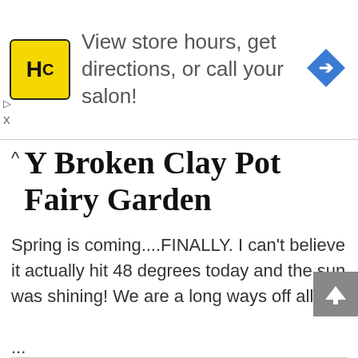[Figure (infographic): Advertisement banner: HC logo (yellow square with bold HC letters), text 'View store hours, get directions, or call your salon!', blue diamond arrow icon on the right. Ad controls (triangle play and X) on the left side.]
DIY Broken Clay Pot Fairy Garden
Spring is coming....FINALLY. I can't believe it actually hit 48 degrees today and the sun was shining! We are a long ways off all of

...
CONTINUE READING →